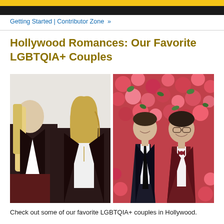Getting Started | Contributor Zone »
Hollywood Romances: Our Favorite LGBTQIA+ Couples
[Figure (photo): Two side-by-side celebrity couple photos: left shows two women wearing dark blazers on a red carpet; right shows two men in formal attire standing in front of a floral backdrop.]
Check out some of our favorite LGBTQIA+ couples in Hollywood.